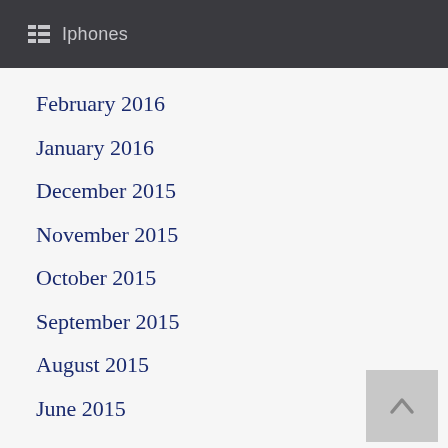Iphones
February 2016
January 2016
December 2015
November 2015
October 2015
September 2015
August 2015
June 2015
Categories